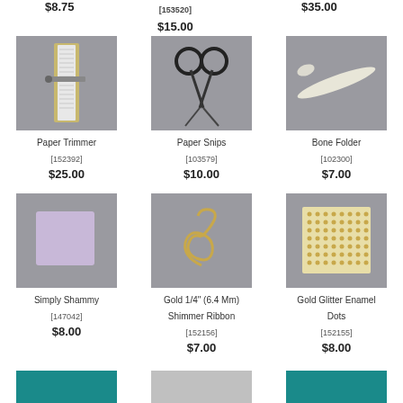$8.75
[153520]
$15.00
$35.00
[Figure (photo): Paper Trimmer product photo on gray background]
Paper Trimmer
[152392]
$25.00
[Figure (photo): Paper Snips scissors product photo on gray background]
Paper Snips
[103579]
$10.00
[Figure (photo): Bone Folder product photo on gray background]
Bone Folder
[102300]
$7.00
[Figure (photo): Simply Shammy purple square product photo on gray background]
Simply Shammy
[147042]
$8.00
[Figure (photo): Gold 1/4 inch shimmer ribbon coiled on gray background]
Gold 1/4" (6.4 Mm) Shimmer Ribbon
[152156]
$7.00
[Figure (photo): Gold Glitter Enamel Dots sheet on gray background]
Gold Glitter Enamel Dots
[152155]
$8.00